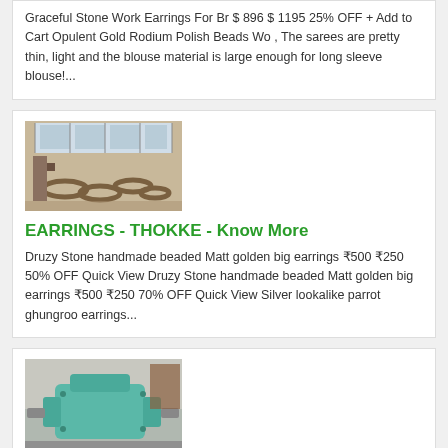Graceful Stone Work Earrings For Br $ 896 $ 1195 25% OFF + Add to Cart Opulent Gold Rodium Polish Beads Wo , The sarees are pretty thin, light and the blouse material is large enough for long sleeve blouse!...
[Figure (photo): Industrial warehouse with metal rings and machinery parts on the floor]
EARRINGS - THOKKE - Know More
Druzy Stone handmade beaded Matt golden big earrings ₹500 ₹250 50% OFF Quick View Druzy Stone handmade beaded Matt golden big earrings ₹500 ₹250 70% OFF Quick View Silver lookalike parrot ghungroo earrings...
[Figure (photo): Industrial machinery - green/teal colored gearbox or mechanical component in a warehouse]